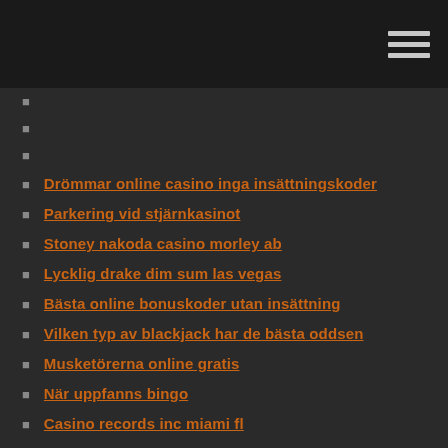Drömmar online casino inga insättningskoder
Parkering vid stjärnkasinot
Stoney nakoda casino morley ab
Lycklig drake dim sum las vegas
Bästa online bonuskoder utan insättning
Vilken typ av blackjack har de bästa oddsen
Musketörerna online gratis
När uppfanns bingo
Casino records inc miami fl
888 casinos gratissnurr
Mystique casino dubuque pokerrum